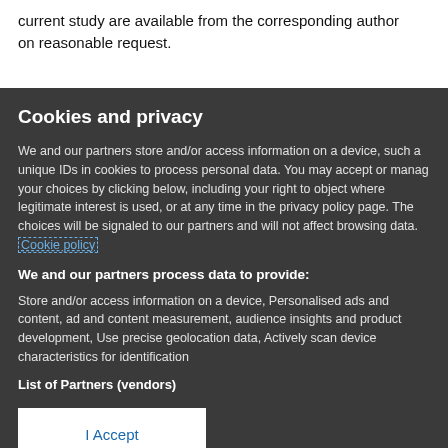current study are available from the corresponding author on reasonable request.
Cookies and privacy
We and our partners store and/or access information on a device, such as unique IDs in cookies to process personal data. You may accept or manage your choices by clicking below, including your right to object where legitimate interest is used, or at any time in the privacy policy page. These choices will be signaled to our partners and will not affect browsing data. Cookie policy
We and our partners process data to provide:
Store and/or access information on a device, Personalised ads and content, ad and content measurement, audience insights and product development, Use precise geolocation data, Actively scan device characteristics for identification
List of Partners (vendors)
I Accept